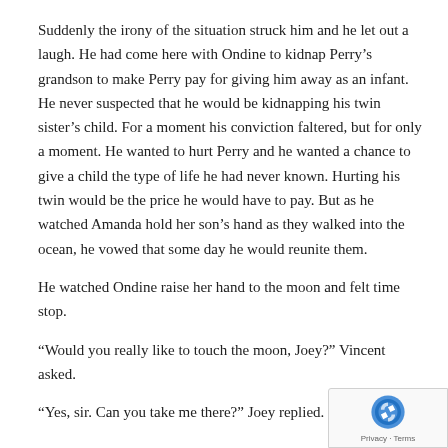Suddenly the irony of the situation struck him and he let out a laugh.  He had come here with Ondine to kidnap Perry's grandson to make Perry pay for giving him away as an infant.  He never suspected that he would be kidnapping his twin sister's child.  For a moment his conviction faltered, but for only a moment.  He wanted to hurt Perry and he wanted a chance to give a child the type of life he had never known.  Hurting his twin would be the price he would have to pay.  But as he watched Amanda hold her son's hand as they walked into the ocean, he vowed that some day he would reunite them.
He watched Ondine raise her hand to the moon and felt time stop.
“Would you really like to touch the moon, Joey?”  Vincent asked.
“Yes, sir.  Can you take me there?”  Joey replied.